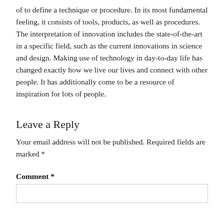of to define a technique or procedure. In its most fundamental feeling, it consists of tools, products, as well as procedures. The interpretation of innovation includes the state-of-the-art in a specific field, such as the current innovations in science and design. Making use of technology in day-to-day life has changed exactly how we live our lives and connect with other people. It has additionally come to be a resource of inspiration for lots of people.
Leave a Reply
Your email address will not be published. Required fields are marked *
Comment *